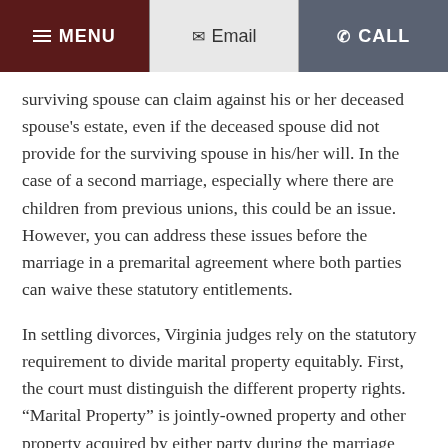≡ MENU | ✉ Email | ✆ CALL
surviving spouse can claim against his or her deceased spouse's estate, even if the deceased spouse did not provide for the surviving spouse in his/her will. In the case of a second marriage, especially where there are children from previous unions, this could be an issue. However, you can address these issues before the marriage in a premarital agreement where both parties can waive these statutory entitlements.
In settling divorces, Virginia judges rely on the statutory requirement to divide marital property equitably. First, the court must distinguish the different property rights. "Marital Property" is jointly-owned property and other property acquired by either party during the marriage from